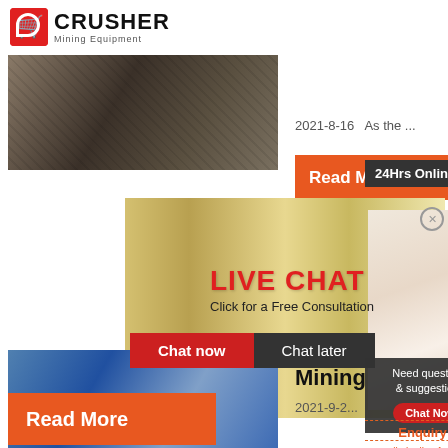[Figure (logo): Crusher Mining Equipment logo with red shopping bag icon and bold text]
[Figure (photo): Heavy mining machinery/excavator equipment photo]
2021-8-16   As the ...
[Figure (photo): Workers in yellow hard hats with Live Chat overlay]
LIVE CHAT
Click for a Free Consultation
Chat now
Chat later
Read M...
24Hrs Online
[Figure (photo): Female customer service agent with headset]
[Figure (photo): Blue industrial crusher machine]
Mining
Need questions & suggestion?
Chat Now
2021-9-2...
Enquiry
limingjlmofen@sina.com
Read More